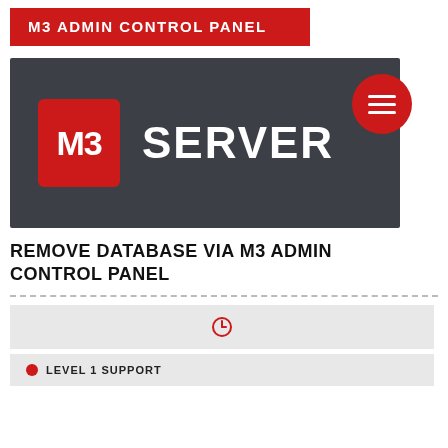M3 ADMIN CONTROL PANEL
[Figure (logo): M3 Server logo on dark grey background with red M3 icon box and white SERVER text, with a red hamburger menu circle button in the top right]
REMOVE DATABASE VIA M3 ADMIN CONTROL PANEL
[Figure (infographic): Clock icon in a light grey box]
LEVEL 1 SUPPORT